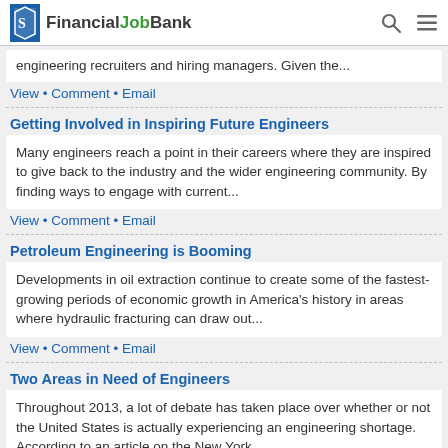FinancialJobBank
engineering recruiters and hiring managers. Given the...
View • Comment • Email
Getting Involved in Inspiring Future Engineers
Many engineers reach a point in their careers where they are inspired to give back to the industry and the wider engineering community. By finding ways to engage with current...
View • Comment • Email
Petroleum Engineering is Booming
Developments in oil extraction continue to create some of the fastest-growing periods of economic growth in America's history in areas where hydraulic fracturing can draw out...
View • Comment • Email
Two Areas in Need of Engineers
Throughout 2013, a lot of debate has taken place over whether or not the United States is actually experiencing an engineering shortage. According to an article on the New York...